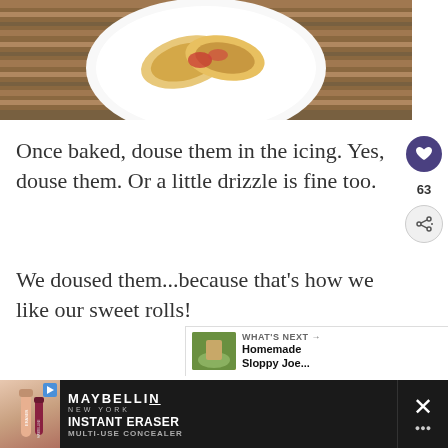[Figure (photo): Photo of baked sweet rolls with strawberry filling on a white plate on a wooden surface, partially visible at top]
Once baked, douse them in the icing. Yes, douse them. Or a little drizzle is fine too.
We doused them...because that's how we like our sweet rolls!
[Figure (photo): Partially visible photo below the recipe text, appears to show a bowl with white ingredients]
[Figure (photo): Advertisement banner at bottom: Maybelline Instant Eraser Multi-Use Concealer advertisement with product image]